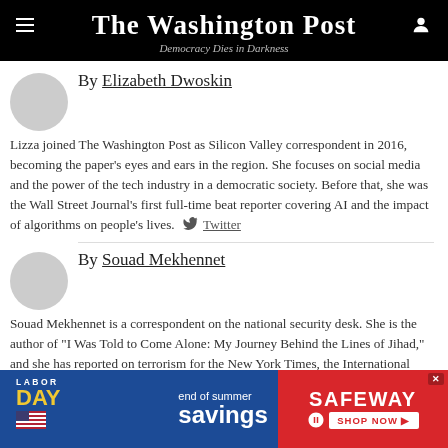The Washington Post | Democracy Dies in Darkness
By Elizabeth Dwoskin
Lizza joined The Washington Post as Silicon Valley correspondent in 2016, becoming the paper's eyes and ears in the region. She focuses on social media and the power of the tech industry in a democratic society. Before that, she was the Wall Street Journal's first full-time beat reporter covering AI and the impact of algorithms on people's lives. Twitter
By Souad Mekhennet
Souad Mekhennet is a correspondent on the national security desk. She is the author of "I Was Told to Come Alone: My Journey Behind the Lines of Jihad," and she has reported on terrorism for the New York Times, the International Herald Tribune and NPR. Twitter
[Figure (other): Safeway Labor Day end of summer savings advertisement banner]